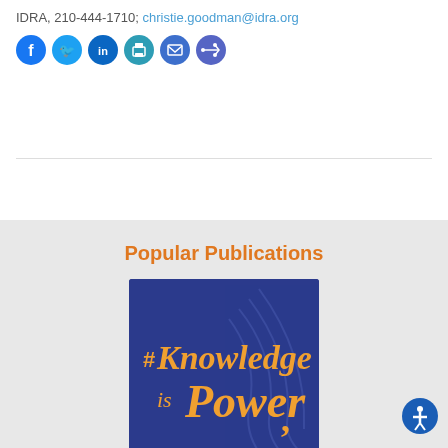IDRA, 210-444-1710; christie.goodman@idra.org
[Figure (infographic): Row of social media sharing icons: Facebook, Twitter, LinkedIn, Print, Email, Share — all circular blue icons]
Popular Publications
[Figure (illustration): Book cover with dark blue background and orange text reading '#Knowledge is Power' with decorative wave lines]